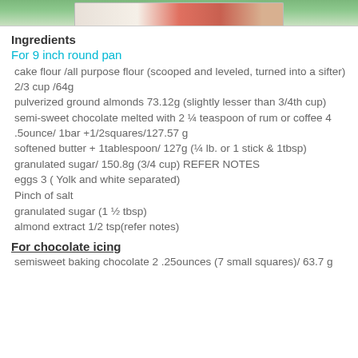[Figure (photo): Top portion of a food photo showing a cake or dish on a plate with green background, partially cropped]
Ingredients
For 9 inch round pan
cake flour /all purpose flour (scooped and leveled, turned into a sifter) 2/3 cup /64g
pulverized ground almonds  73.12g (slightly lesser than 3/4th cup)
semi-sweet chocolate melted with 2 ¼ teaspoon of rum or coffee 4 .5ounce/ 1bar +1/2squares/127.57 g
softened butter + 1tablespoon/ 127g  (¼ lb. or 1 stick & 1tbsp)
granulated sugar/ 150.8g (3/4 cup) REFER NOTES
eggs 3 ( Yolk and white separated)
Pinch of salt
granulated sugar (1 ½ tbsp)
almond extract   1/2 tsp(refer notes)
For chocolate icing
semisweet baking chocolate 2 .25ounces (7 small squares)/ 63.7 g